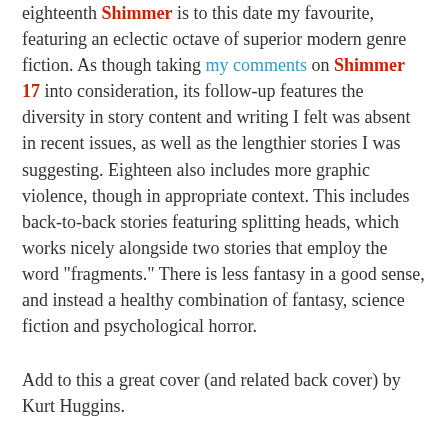eighteenth Shimmer is to this date my favourite, featuring an eclectic octave of superior modern genre fiction. As though taking my comments on Shimmer 17 into consideration, its follow-up features the diversity in story content and writing I felt was absent in recent issues, as well as the lengthier stories I was suggesting. Eighteen also includes more graphic violence, though in appropriate context. This includes back-to-back stories featuring splitting heads, which works nicely alongside two stories that employ the word "fragments." There is less fantasy in a good sense, and instead a healthy combination of fantasy, science fiction and psychological horror.
Add to this a great cover (and related back cover) by Kurt Huggins.
In the Broken City by Ben Peck    7/10
In the Broken City our narrator is waiting to be released from the hospital after voluntary amputation of a healthy leg. Here he meets and quickly falls for nurse Lily. In the Broken City inhabitants are incomplete without actually being debilitated.